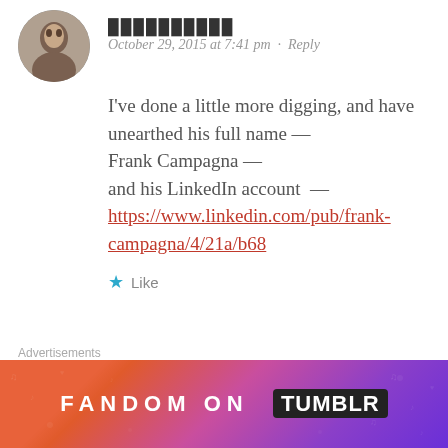[Figure (photo): Circular avatar photo of a person (partially visible at top of page)]
October 29, 2015 at 7:41 pm · Reply
I've done a little more digging, and have unearthed his full name — Frank Campagna — and his LinkedIn account — https://www.linkedin.com/pub/frank-campagna/4/21a/b68
★ Like
[Figure (photo): Circular avatar photo of an animal (snow leopard or cat)]
JOZIE
Advertisements
[Figure (infographic): Fandom on Tumblr advertisement banner with colorful gradient background (orange to purple) and bold text reading FANDOM ON tumblr]